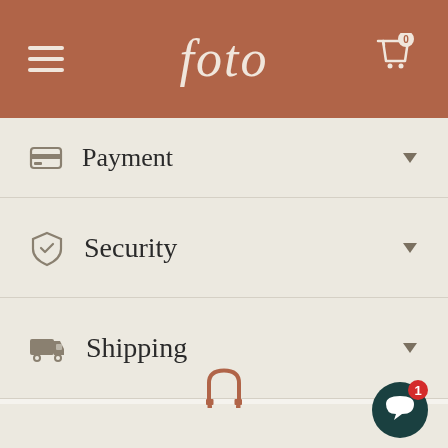[Figure (screenshot): Navigation header bar with brown background showing hamburger menu icon on left, 'foto' logo in center italic serif font, and shopping cart icon with 0 badge on right]
Payment
Security
Shipping
[Figure (illustration): Brown camera strap icon in the lower section of the page]
[Figure (illustration): Dark green chat bubble icon with red badge showing number 1 in bottom right corner]